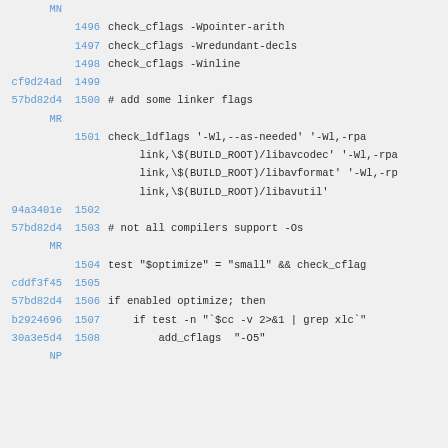[Figure (screenshot): Source code diff view showing lines 1496-1508 of a build script with commit hashes, line numbers, and code content including check_cflags, check_ldflags, and shell script commands.]